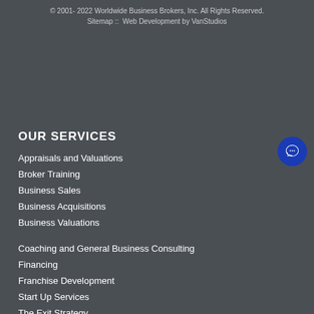© 2001- 2022 Worldwide Business Brokers, Inc. All Rights Reserved.
Sitemap ::  Web Development by VanStudios
OUR SERVICES
Appraisals and Valuations
Broker Training
Business Sales
Business Acquisitions
Business Valuations
Coaching and General Business Consulting
Financing
Franchise Development
Start Up Services
The Exit Strategy